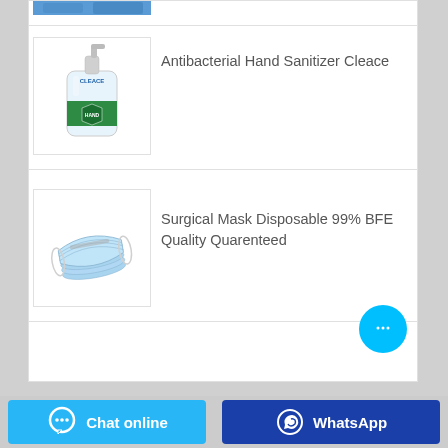[Figure (photo): Partial top image strip showing blue clothing/product]
[Figure (photo): Antibacterial Hand Sanitizer Cleace pump bottle with green label]
Antibacterial Hand Sanitizer Cleace
[Figure (photo): Surgical masks disposable blue face masks stacked in a bundle]
Surgical Mask Disposable 99% BFE Quality Quarenteed
[Figure (other): Chat bubble floating action button]
Chat online
WhatsApp